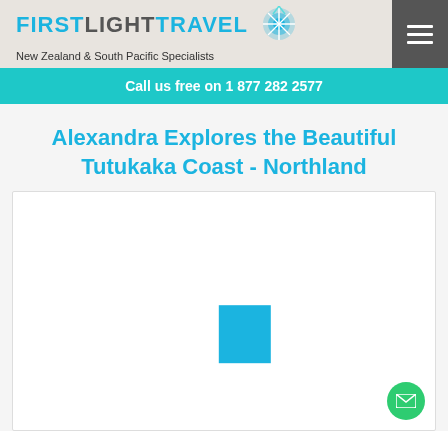FIRSTLIGHTTRAVEL - New Zealand & South Pacific Specialists
Call us free on 1 877 282 2577
Alexandra Explores the Beautiful Tutukaka Coast - Northland
[Figure (photo): Loading image placeholder with a blue square indicator in the center of a white box]